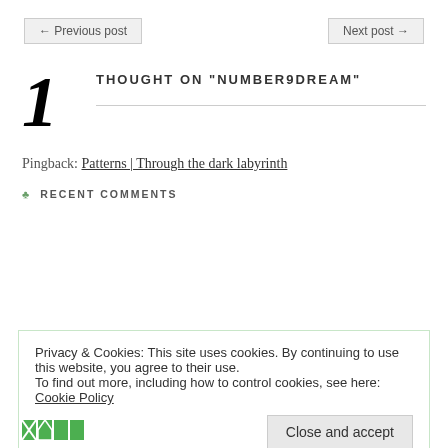← Previous post    Next post →
1 THOUGHT ON "NUMBER9DREAM"
Pingback: Patterns | Through the dark labyrinth
♣ RECENT COMMENTS
Privacy & Cookies: This site uses cookies. By continuing to use this website, you agree to their use.
To find out more, including how to control cookies, see here: Cookie Policy
Close and accept